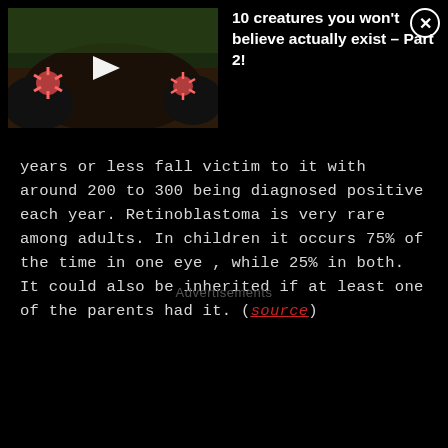[Figure (screenshot): Video thumbnail showing a star-nosed mole with pink star-shaped nose, with a white play button triangle in center. Title reads: 10 creatures you won't believe actually exist – Part 2!]
years or less fall victim to it with around 200 to 300 being diagnosed positive each year. Retinoblastoma is very rare among adults. In children it occurs 75% of the time in one eye , while 25% in both. It could also be inherited if at least one of the parents had it. (source)
Advertisements